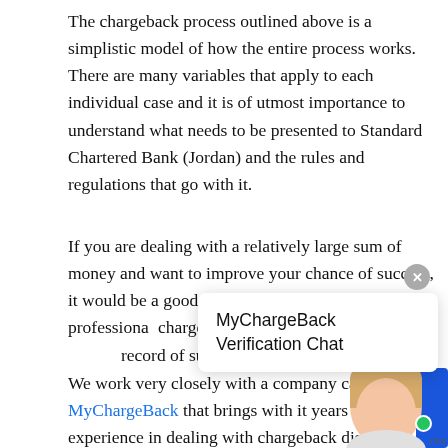The chargeback process outlined above is a simplistic model of how the entire process works. There are many variables that apply to each individual case and it is of utmost importance to understand what needs to be presented to Standard Chartered Bank (Jordan) and the rules and regulations that go with it.
If you are dealing with a relatively large sum of money and want to improve your chance of success, it would be a good idea to consider hiring a professional chargeback process record of success.
[Figure (other): MyChargeBack Verification Chat popup overlay with close button (X) and avatar image in the bottom right corner with a green online indicator dot and terms label.]
We work very closely with a company called MyChargeBack that brings with it years of experience in dealing with chargeback disputes